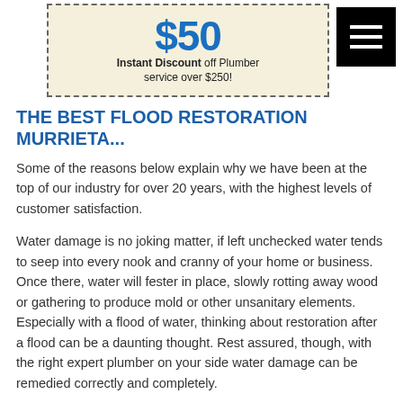[Figure (other): Coupon box with dashed border offering $50 Instant Discount off Plumber service over $250]
[Figure (other): Hamburger menu icon (three white horizontal lines on black square background)]
THE BEST FLOOD RESTORATION MURRIETA...
Some of the reasons below explain why we have been at the top of our industry for over 20 years, with the highest levels of customer satisfaction.
Water damage is no joking matter, if left unchecked water tends to seep into every nook and cranny of your home or business. Once there, water will fester in place, slowly rotting away wood or gathering to produce mold or other unsanitary elements. Especially with a flood of water, thinking about restoration after a flood can be a daunting thought. Rest assured, though, with the right expert plumber on your side water damage can be remedied correctly and completely.